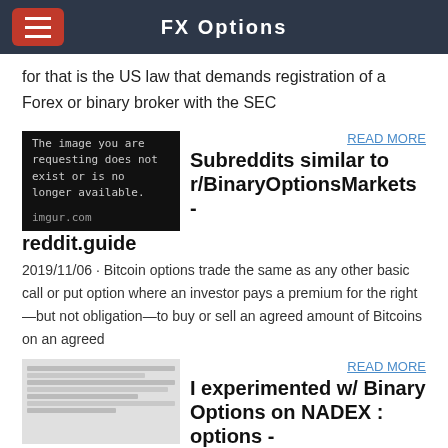FX Options
for that is the US law that demands registration of a Forex or binary broker with the SEC
[Figure (screenshot): Black image placeholder reading 'The image you are requesting does not exist or is no longer available.' with imgur.com credit]
Subreddits similar to r/BinaryOptionsMarkets - reddit.guide
READ MORE
2019/11/06 · Bitcoin options trade the same as any other basic call or put option where an investor pays a premium for the right—but not obligation—to buy or sell an agreed amount of Bitcoins on an agreed
[Figure (screenshot): Small thumbnail of a Reddit-style forum post]
I experimented w/ Binary Options on NADEX : options -
READ MORE